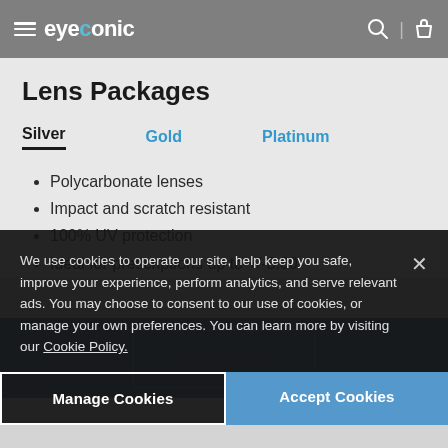eyeconic
Lens Packages
Silver | Gold | Platinum
Polycarbonate lenses
Impact and scratch resistant
100% UV protection
Ideal for prescriptions up to +/-3.00
We use cookies to operate our site, help keep you safe, improve your experience, perform analytics, and serve relevant ads. You may choose to consent to our use of cookies, or manage your own preferences. You can learn more by visiting our Cookie Policy.
Manage Cookies | Accept Cookies